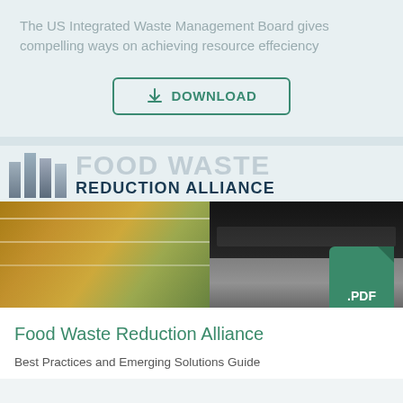The US Integrated Waste Management Board gives compelling ways on achieving resource effeciency
[Figure (other): Download button with green border and download icon]
[Figure (logo): Food Waste Reduction Alliance logo with vertical bars and text]
[Figure (photo): Two photos side by side: grocery store produce aisle and commercial kitchen equipment, with a green PDF badge overlay]
Food Waste Reduction Alliance
Best Practices and Emerging Solutions Guide